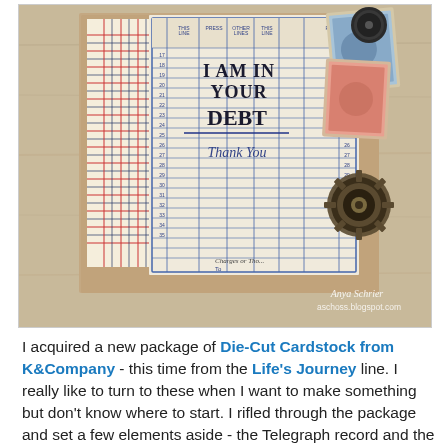[Figure (photo): A handmade greeting card displayed on a wooden surface. The card has a kraft paper base. On the front is a vintage-style ledger/telegraph record sheet with the text 'I AM IN YOUR DEBT Thank You' stamped on it, along with decorative postage stamps, a plaid patterned paper, and a brass mechanical brad/embellishment. Watermark reads 'Anya Schrier aschoss.blogspot.com'.]
I acquired a new package of Die-Cut Cardstock from K&Company - this time from the Life's Journey line. I really like to turn to these when I want to make something but don't know where to start. I rifled through the package and set a few elements aside - the Telegraph record and the postage